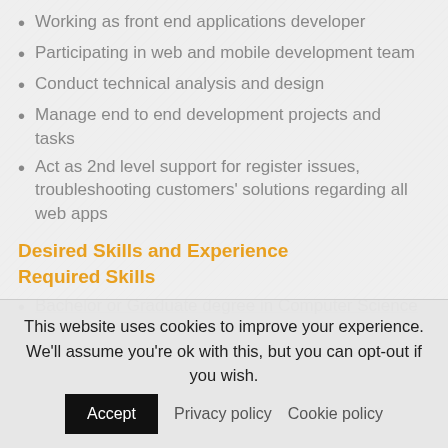Working as front end applications developer
Participating in web and mobile development team
Conduct technical analysis and design
Manage end to end development projects and tasks
Act as 2nd level support for register issues, troubleshooting customers' solutions regarding all web apps
Desired Skills and Experience
Required Skills
Bachelor or Graduate degree in Computer Science
This website uses cookies to improve your experience. We'll assume you're ok with this, but you can opt-out if you wish. Accept Privacy policy Cookie policy